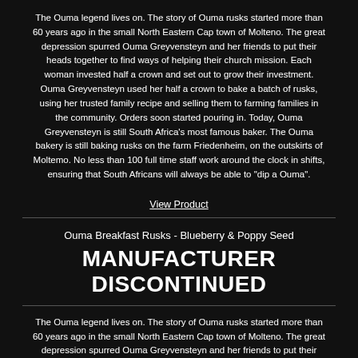The Ouma legend lives on. The story of Ouma rusks started more than 60 years ago in the small North Eastern Cap town of Molteno. The great depression spurred Ouma Greyvensteyn and her friends to put their heads together to find ways of helping their church mission. Each woman invested half a crown and set out to grow their investment. Ouma Greyvensteyn used her half a crown to bake a batch of rusks, using her trusted family recipe and selling them to farming families in the community. Orders soon started pouring in. Today, Ouma Greyvensteyn is still South Africa's most famous baker. The Ouma bakery is still baking rusks on the farm Friedenheim, on the outskirts of Moltemo. No less than 100 full time staff work around the clock in shifts, ensuring that South Africans will always be able to "dip a Ouma".
View Product
Ouma Breakfast Rusks - Blueberry & Poppy Seed
MANUFACTURER DISCONTINUED
The Ouma legend lives on. The story of Ouma rusks started more than 60 years ago in the small North Eastern Cap town of Molteno. The great depression spurred Ouma Greyvensteyn and her friends to put their heads together to find ways of helping their church mission. Each woman invested half a crown and set out to grow their investment. Ouma Greyvensteyn used her half a crown to bake a batch of rusks, using her trusted family recipe and selling them to farming families in the community.